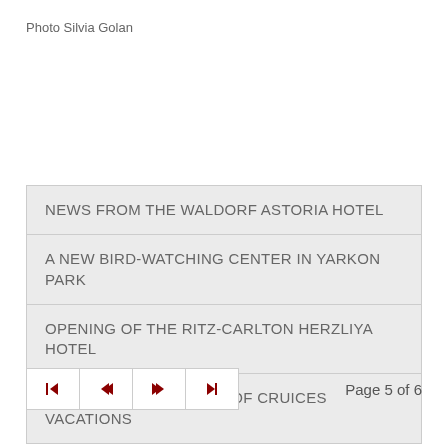Photo Silvia Golan
NEWS FROM THE WALDORF ASTORIA HOTEL
A NEW BIRD-WATCHING CENTER IN YARKON PARK
OPENING OF THE RITZ-CARLTON HERZLIYA HOTEL
THE NEXT GENERATION OF CRUICES VACATIONS
Page 5 of 6